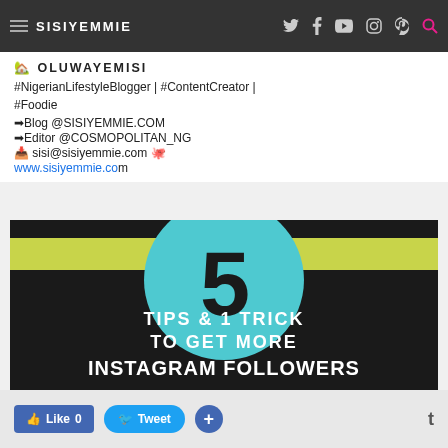SISIYEMMIE
🏡 OLUWAYEMISI
#NigerianLifestyleBlogger | #ContentCreator | #Foodie
➡Blog @SISIYEMMIE.COM
➡Editor @COSMOPOLITAN_NG
📥 sisi@sisiyemmie.com 🐙
www.sisiyemmie.com
[Figure (infographic): Dark background promotional image with teal circle containing number '5', yellow stripe, and text: '5 TIPS & 1 TRICK TO GET MORE INSTAGRAM FOLLOWERS']
Like 0   Tweet   +   t